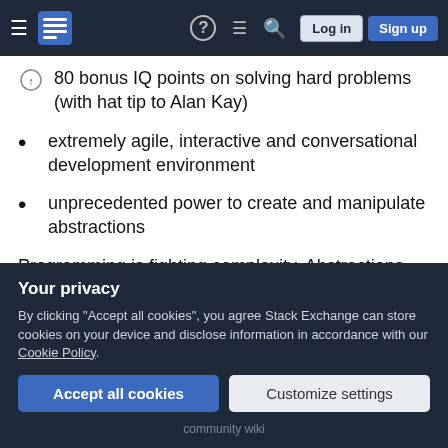Navigation bar with hamburger menu, logo, help icon, comments icon, search icon, Log in and Sign up buttons
80 bonus IQ points on solving hard problems (with hat tip to Alan Kay)
extremely agile, interactive and conversational development environment
unprecedented power to create and manipulate abstractions
Programming is fighting complexity. Abstractions are the only effective tool for fighting ever increasing complexity (with our very limited and constant skull size). Managing abstractions with Lisp is like having
Your privacy
By clicking "Accept all cookies", you agree Stack Exchange can store cookies on your device and disclose information in accordance with our Cookie Policy.
Accept all cookies   Customize settings
community wiki